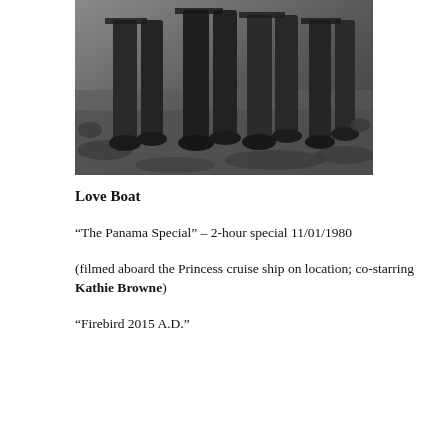[Figure (photo): Black and white photograph showing the lower bodies and legs of several people standing on grass or rocky ground, wearing dark trousers and shoes.]
Love Boat
“The Panama Special” – 2-hour special 11/01/1980
(filmed aboard the Princess cruise ship on location; co-starring Kathie Browne)
“Firebird 2015 A.D.”